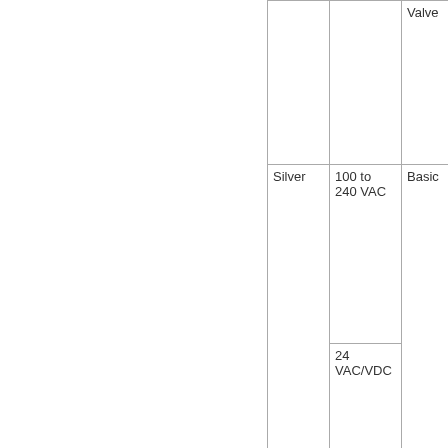|  |  | Valve |
| --- | --- | --- |
| Silver | 100 to 240 VAC | Basic |
|  | 24 VAC/VDC |  |